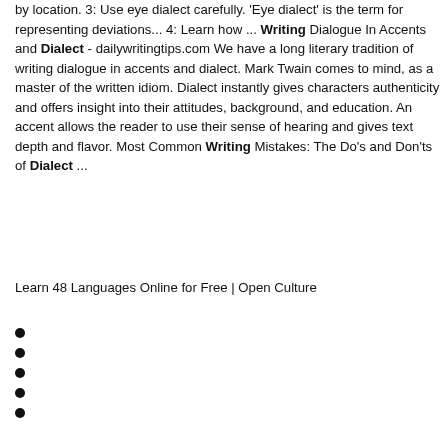by location. 3: Use eye dialect carefully. 'Eye dialect' is the term for representing deviations... 4: Learn how ... Writing Dialogue In Accents and Dialect - dailywritingtips.com We have a long literary tradition of writing dialogue in accents and dialect. Mark Twain comes to mind, as a master of the written idiom. Dialect instantly gives characters authenticity and offers insight into their attitudes, background, and education. An accent allows the reader to use their sense of hearing and gives text depth and flavor. Most Common Writing Mistakes: The Do's and Don'ts of Dialect ...
Learn 48 Languages Online for Free | Open Culture